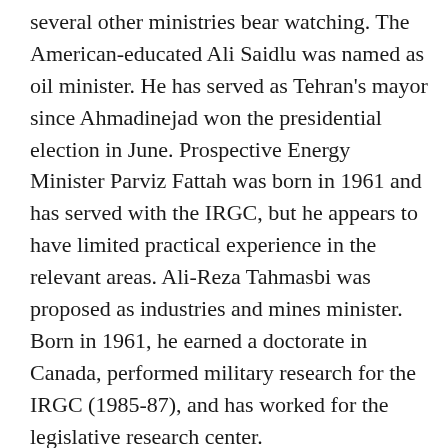several other ministries bear watching. The American-educated Ali Saidlu was named as oil minister. He has served as Tehran's mayor since Ahmadinejad won the presidential election in June. Prospective Energy Minister Parviz Fattah was born in 1961 and has served with the IRGC, but he appears to have limited practical experience in the relevant areas. Ali-Reza Tahmasbi was proposed as industries and mines minister. Born in 1961, he earned a doctorate in Canada, performed military research for the IRGC (1985-87), and has worked for the legislative research center.
Three individuals who will have a significant impact on domestic policies are the ministers of intelligence and security, of interior, and of Islamic culture and guidance. Two of these individuals are alumni of the Haqqani school, an especially hard-line seminary.